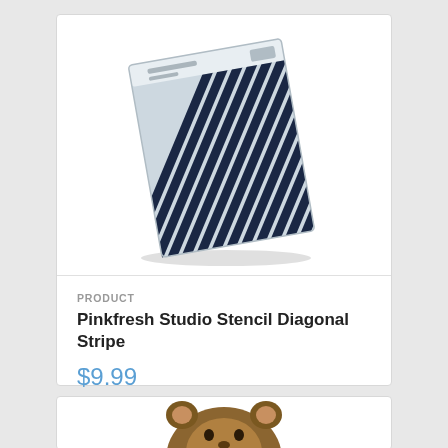[Figure (photo): A Pinkfresh Studio Stencil Diagonal Stripe product — a rectangular stencil sheet with diagonal parallel stripes pattern in dark navy/black on a light blue-gray background, shown at a slight angle with a product label at the top.]
PRODUCT
Pinkfresh Studio Stencil Diagonal Stripe
$9.99
[Figure (photo): Partial view of a brown animal-themed craft product (appears to be a squirrel or bear face) visible at the bottom of the page.]